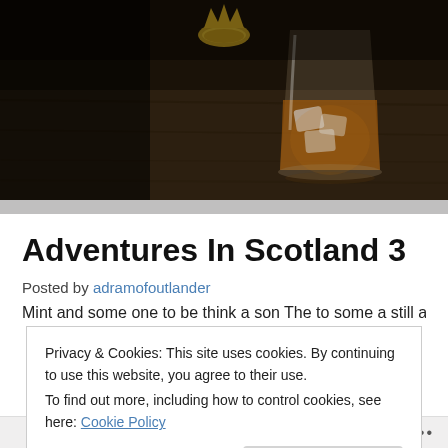[Figure (photo): Dark atmospheric photo of a whisky glass with ice on a wooden table, with a golden crown emblem visible at the top center against a dark background.]
Adventures In Scotland 3
Posted by adramofoutlander
Privacy & Cookies: This site uses cookies. By continuing to use this website, you agree to their use.
To find out more, including how to control cookies, see here: Cookie Policy
Close and accept
Follow ...